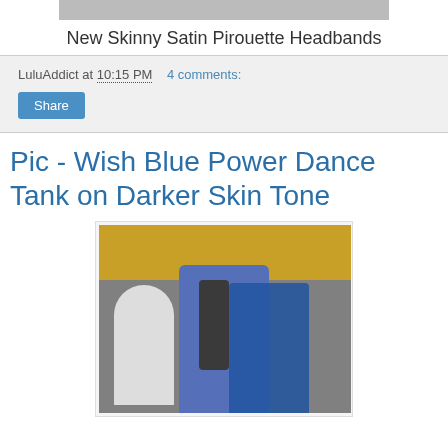[Figure (photo): Partial top image of headbands, cropped at top of page]
New Skinny Satin Pirouette Headbands
LuluAddict at 10:15 PM    4 comments:
Share
Pic - Wish Blue Power Dance Tank on Darker Skin Tone
[Figure (photo): Woman wearing blue power dance tank top in a lululemon store, raising one arm up, smiling]